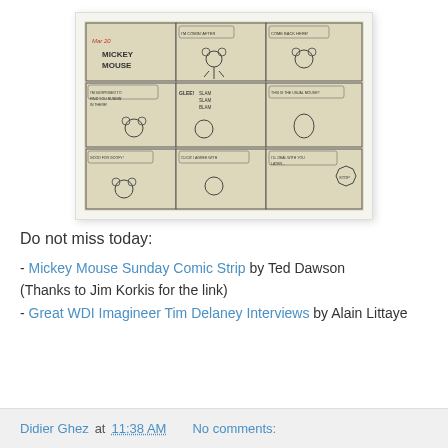[Figure (illustration): Mickey Mouse Sunday Comic Strip original artwork showing a multi-panel comic page with Mickey Mouse characters in pencil/ink sketch style. Three rows of panels with speech bubbles. Title panel reads 'Mickey Mouse'.]
Do not miss today:
- Mickey Mouse Sunday Comic Strip by Ted Dawson (Thanks to Jim Korkis for the link)
- Great WDI Imagineer Tim Delaney Interviews by Alain Littaye
Didier Ghez at 11:38 AM   No comments: